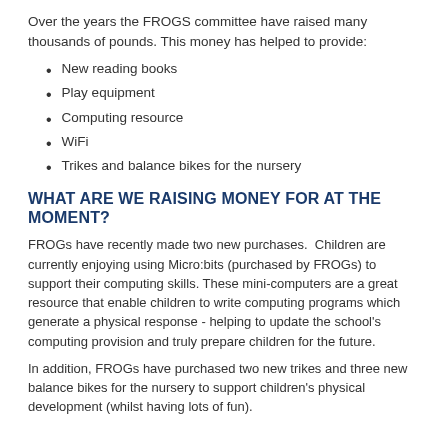Over the years the FROGS committee have raised many thousands of pounds. This money has helped to provide:
New reading books
Play equipment
Computing resource
WiFi
Trikes and balance bikes for the nursery
WHAT ARE WE RAISING MONEY FOR AT THE MOMENT?
FROGs have recently made two new purchases.  Children are currently enjoying using Micro:bits (purchased by FROGs) to support their computing skills. These mini-computers are a great resource that enable children to write computing programs which generate a physical response - helping to update the school's computing provision and truly prepare children for the future.
In addition, FROGs have purchased two new trikes and three new balance bikes for the nursery to support children's physical development (whilst having lots of fun).